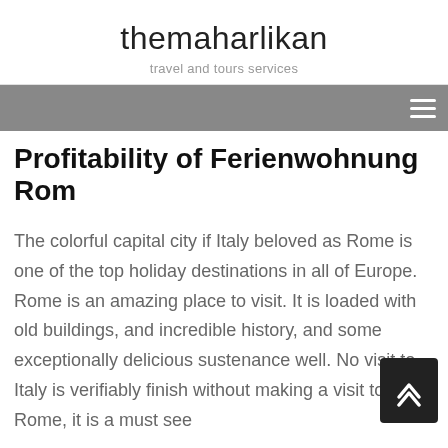themaharlikan
travel and tours services
Profitability of Ferienwohnung Rom
The colorful capital city if Italy beloved as Rome is one of the top holiday destinations in all of Europe. Rome is an amazing place to visit. It is loaded with old buildings, and incredible history, and some exceptionally delicious sustenance well. No visit to Italy is verifiably finish without making a visit to Rome, it is a must see